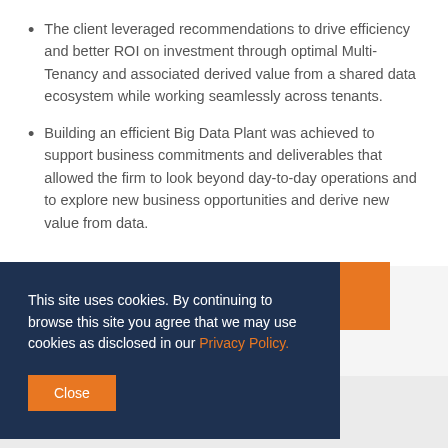The client leveraged recommendations to drive efficiency and better ROI on investment through optimal Multi-Tenancy and associated derived value from a shared data ecosystem while working seamlessly across tenants.
Building an efficient Big Data Plant was achieved to support business commitments and deliverables that allowed the firm to look beyond day-to-day operations and to explore new business opportunities and derive new value from data.
This site uses cookies. By continuing to browse this site you agree that we may use cookies as disclosed in our Privacy Policy.